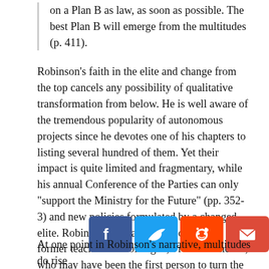on a Plan B as law, as soon as possible. The best Plan B will emerge from the multitudes (p. 411).
Robinson's faith in the elite and change from the top cancels any possibility of qualitative transformation from below. He is well aware of the tremendous popularity of autonomous projects since he devotes one of his chapters to listing several hundred of them. Yet their impact is quite limited and fragmentary, while his annual Conference of the Parties can only “support the Ministry for the Future” (pp. 352-3) and new policies formulated by a changed elite. Robinson dedicates his book to our former teacher and colleague, Fredric Jameson, who may have been the first person to turn the phrase: “It is easier to imagine the end of the world than the end of capitalism.” Sadly, nowhere in Robinson’s narrative is capitalism’s demise through grassroots insurgency entertained.
At one point in Robinson’s narrative, multitudes do rise